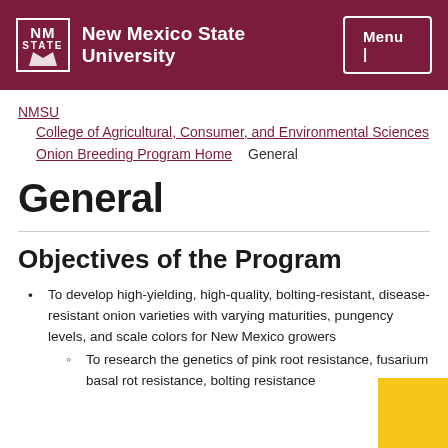New Mexico State University | Menu
NMSU
College of Agricultural, Consumer, and Environmental Sciences
Onion Breeding Program Home | General
General
Objectives of the Program
To develop high-yielding, high-quality, bolting-resistant, disease-resistant onion varieties with varying maturities, pungency levels, and scale colors for New Mexico growers
To research the genetics of pink root resistance, fusarium basal rot resistance, bolting resistance